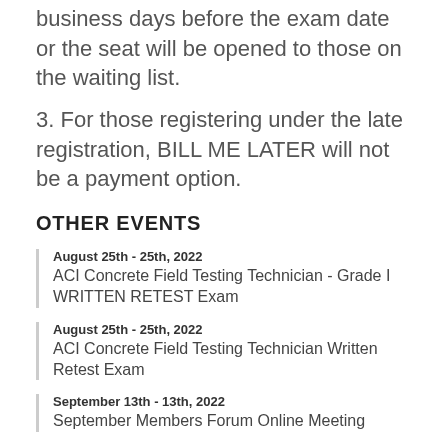business days before the exam date or the seat will be opened to those on the waiting list.
3. For those registering under the late registration, BILL ME LATER will not be a payment option.
OTHER EVENTS
August 25th - 25th, 2022
ACI Concrete Field Testing Technician - Grade I WRITTEN RETEST Exam
August 25th - 25th, 2022
ACI Concrete Field Testing Technician Written Retest Exam
September 13th - 13th, 2022
September Members Forum Online Meeting